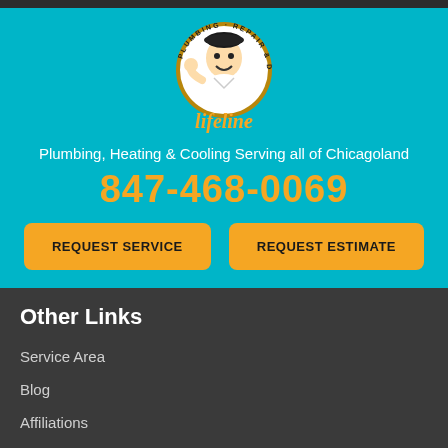[Figure (logo): Lifeline Plumbing logo with cartoon plumber character in a circular badge and 'Lifeline' text below in script font]
Plumbing, Heating & Cooling Serving all of Chicagoland
847-468-0069
REQUEST SERVICE
REQUEST ESTIMATE
Other Links
Service Area
Blog
Affiliations
Site Map
Accessibility Statement